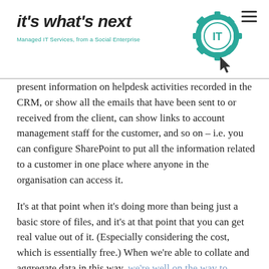it's what's next IT — Managed IT Services, from a Social Enterprise
present information on helpdesk activities recorded in the CRM, or show all the emails that have been sent to or received from the client, can show links to account management staff for the customer, and so on – i.e. you can configure SharePoint to put all the information related to a customer in one place where anyone in the organisation can access it.
It's at that point when it's doing more than being just a basic store of files, and it's at that point that you can get real value out of it. (Especially considering the cost, which is essentially free.) When we're able to collate and aggregate data in this way, we're well on the way to becoming a data-driven business.